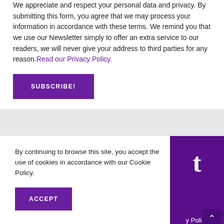We appreciate and respect your personal data and privacy. By submitting this form, you agree that we may process your information in accordance with these terms. We remind you that we use our Newsletter simply to offer an extra service to our readers, we will never give your address to third parties for any reason. Read our Privacy Policy.
SUBSCRIBE!
By continuing to browse this site, you accept the use of cookies in accordance with our Cookie Policy.
ACCEPT
t
y Policy